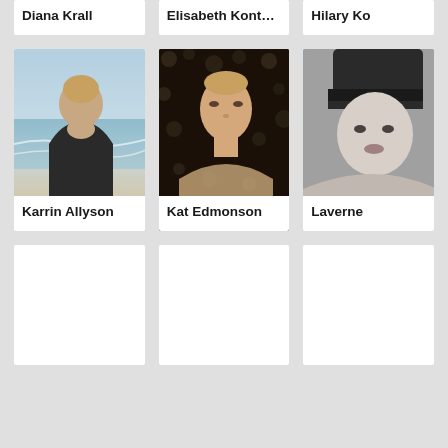Diana Krall
Elisabeth Kontomanou
Hilary Ko
[Figure (photo): Photo of Karrin Allyson, a woman at a beach wearing a dark wrap]
Karrin Allyson
[Figure (photo): Photo of Kat Edmonson, a woman against a dark bokeh background]
Kat Edmonson
[Figure (photo): Partial black and white photo of Laverne, a woman with bangs]
Laverne
[Figure (photo): Empty card placeholder]
[Figure (photo): Empty card placeholder]
[Figure (photo): Empty card placeholder (partially visible, right edge)]